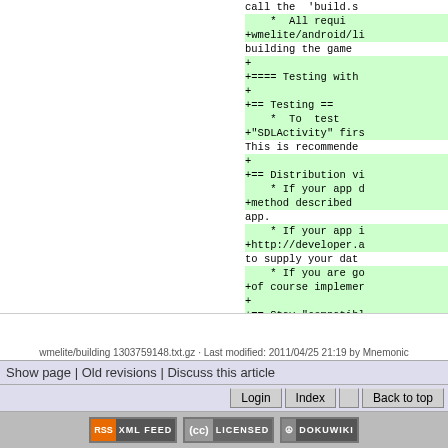[Figure (screenshot): Code diff view showing added lines (green background) with + markers, displaying wiki markup for Testing and Distribution sections of a game building guide.]
wmelite/building 1303759148.txt.gz · Last modified: 2011/04/25 21:19 by Mnemonic
Show page | Old revisions | Discuss this article
Login  Index  Back to top
RSS XML FEED  (cc) LICENSED  DOKUWIKI